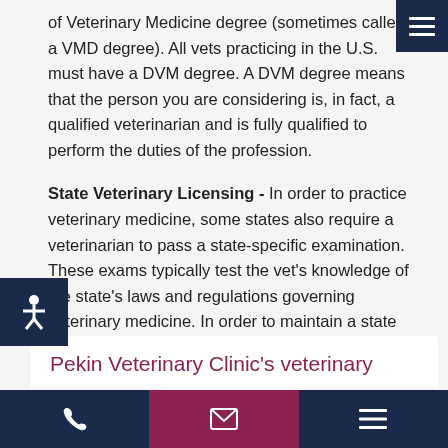of Veterinary Medicine degree (sometimes called a VMD degree). All vets practicing in the U.S. must have a DVM degree. A DVM degree means that the person you are considering is, in fact, a qualified veterinarian and is fully qualified to perform the duties of the profession.
State Veterinary Licensing - In order to practice veterinary medicine, some states also require a veterinarian to pass a state-specific examination. These exams typically test the vet's knowledge of the state's laws and regulations governing veterinary medicine. In order to maintain a state veterinary license, vets must obtain continuing education and may need to renew their license on a regular basis (often every 3 years).
Pekin Veterinary Clinic's veterinary